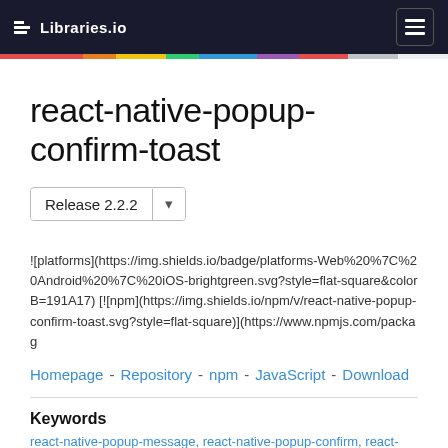Libraries.io
react-native-popup-confirm-toast
Release 2.2.2
![platforms](https://img.shields.io/badge/platforms-Web%20%7C%20Android%20%7C%20iOS-brightgreen.svg?style=flat-square&colorB=191A17) [![npm](https://img.shields.io/npm/v/react-native-popup-confirm-toast.svg?style=flat-square)](https://www.npmjs.com/packag
Homepage - Repository - npm - JavaScript - Download
Keywords
react-native-popup-message, react-native-popup-confirm, react-